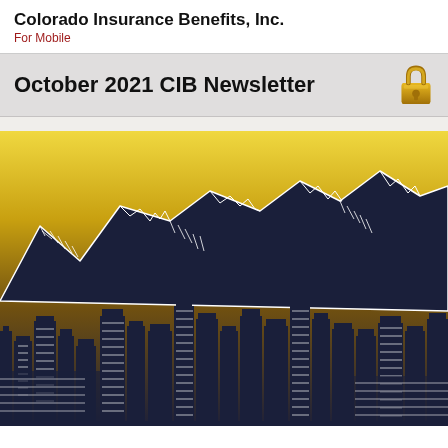Colorado Insurance Benefits, Inc.
For Mobile
October 2021 CIB Newsletter
[Figure (illustration): Stylized illustration of a Colorado city skyline with mountain peaks in the background. The scene uses a dark navy blue and white line-art style for the buildings and mountains, with a warm golden-yellow gradient sky fading from bright yellow at top to darker gold-brown near the horizon.]